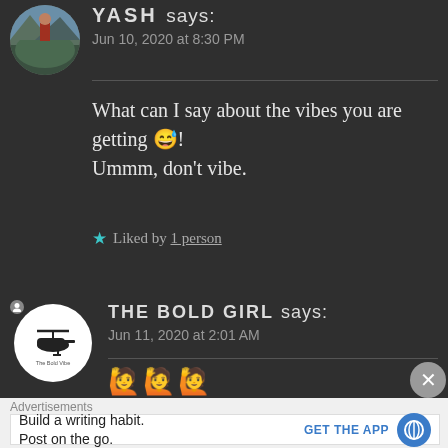[Figure (photo): Circular avatar of user YASH, showing a person outdoors on a mountain/hillside wearing red jacket]
YASH says:
Jun 10, 2020 at 8:30 PM
What can I say about the vibes you are getting 😅! Ummm, don't vibe.
★ Liked by 1 person
[Figure (logo): Circular white logo of The Bold Vibe blog with helicopter silhouette]
THE BOLD GIRL says:
Jun 11, 2020 at 2:01 AM
🙋🙋🙋
Advertisements
Build a writing habit.
Post on the go.
GET THE APP